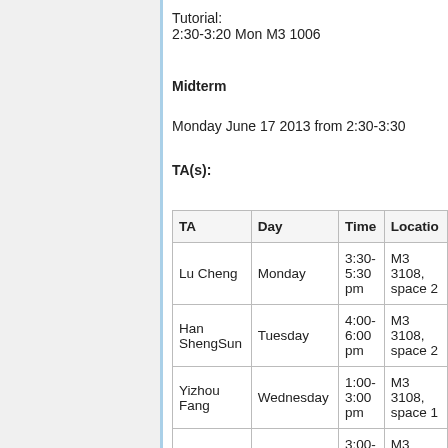Tutorial:
2:30-3:20 Mon M3 1006
Midterm
Monday June 17 2013 from 2:30-3:30
TA(s):
| TA | Day | Time | Location |
| --- | --- | --- | --- |
| Lu Cheng | Monday | 3:30-5:30 pm | M3 3108, space 2 |
| Han ShengSun | Tuesday | 4:00-6:00 pm | M3 3108, space 2 |
| Yizhou Fang | Wednesday | 1:00-3:00 pm | M3 3108, space 1 |
|  |  | 3:00- | M3 |